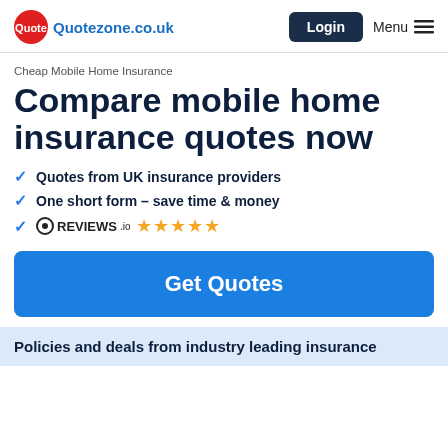[Figure (logo): Quotezone.co.uk logo with red circular icon and blue text]
Cheap Mobile Home Insurance
Compare mobile home insurance quotes now
Quotes from UK insurance providers
One short form – save time & money
REVIEWS.io ★★★★★
Get Quotes
Policies and deals from industry leading insurance